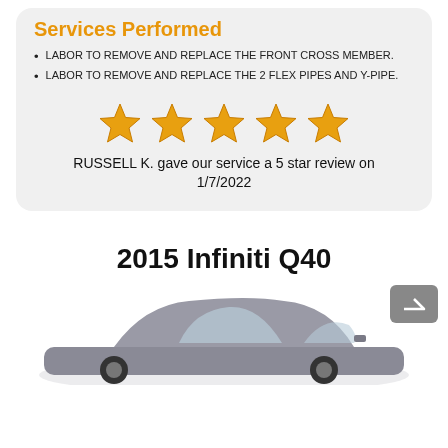Services Performed
LABOR TO REMOVE AND REPLACE THE FRONT CROSS MEMBER.
LABOR TO REMOVE AND REPLACE THE 2 FLEX PIPES AND Y-PIPE.
[Figure (infographic): Five gold star rating icons in a row]
RUSSELL K. gave our service a 5 star review on 1/7/2022
2015 Infiniti Q40
[Figure (photo): Photo of a grey 2015 Infiniti Q40 sedan, partially cropped at bottom of page, with a grey UI button visible in the upper right of the car image area]